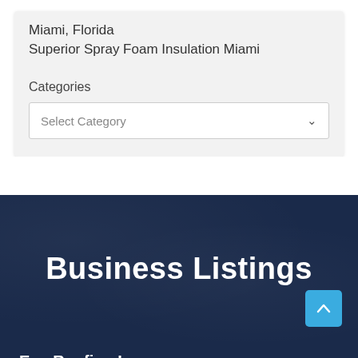Miami, Florida
Superior Spray Foam Insulation Miami
Categories
Select Category
Business Listings
Eco Roofing Inc